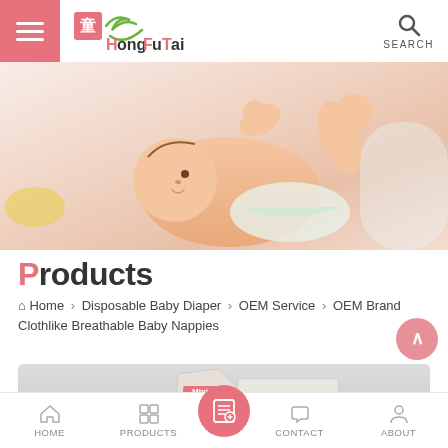[Figure (logo): HongFuTai company logo with red Chinese character, green leaf/check mark design]
[Figure (photo): Baby lying on back reaching up, wearing a diaper, product hero banner image]
Products
Home > Disposable Baby Diaper > OEM Service > OEM Brand Clothlike Breathable Baby Nappies
[Figure (photo): Product packaging for baby nappies labeled Mini 16 pieces]
HOME   PRODUCTS   CONTACT   ABOUT